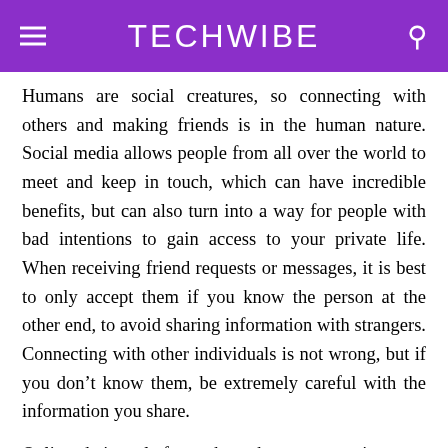TECHWIBE
Humans are social creatures, so connecting with others and making friends is in the human nature. Social media allows people from all over the world to meet and keep in touch, which can have incredible benefits, but can also turn into a way for people with bad intentions to gain access to your private life. When receiving friend requests or messages, it is best to only accept them if you know the person at the other end, to avoid sharing information with strangers. Connecting with other individuals is not wrong, but if you don’t know them, be extremely careful with the information you share.
Online dating platforms have become a mainstream way to meet people, especially amongst individuals that have a busy life and lack the time to go out and interact with others. Keeping privacy on dating platforms and sharing sensitive personal data...